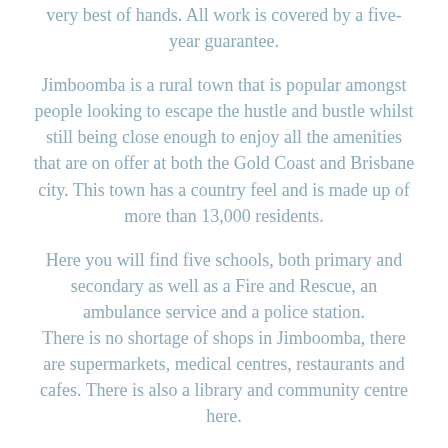very best of hands. All work is covered by a five-year guarantee.
Jimboomba is a rural town that is popular amongst people looking to escape the hustle and bustle whilst still being close enough to enjoy all the amenities that are on offer at both the Gold Coast and Brisbane city. This town has a country feel and is made up of more than 13,000 residents.
Here you will find five schools, both primary and secondary as well as a Fire and Rescue, an ambulance service and a police station. There is no shortage of shops in Jimboomba, there are supermarkets, medical centres, restaurants and cafes. There is also a library and community centre here.